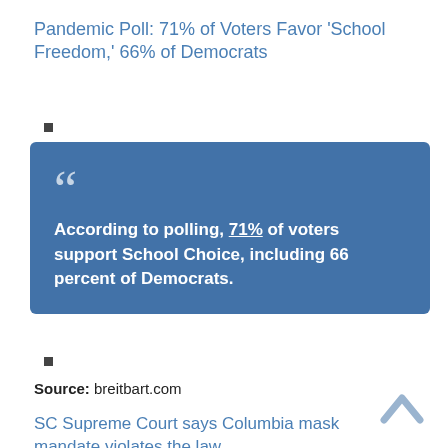Pandemic Poll: 71% of Voters Favor ‘School Freedom,’ 66% of Democrats
■
[Figure (infographic): Blue blockquote box with large quotation mark icon and bold white text: According to polling, 71% of voters support School Choice, including 66 percent of Democrats.]
■
Source: breitbart.com
SC Supreme Court says Columbia mask mandate violates the law